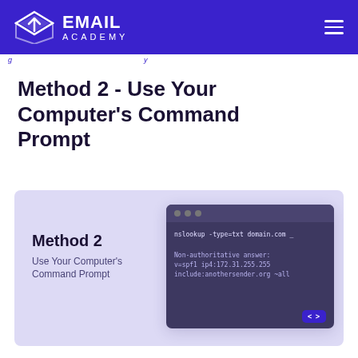EMAIL ACADEMY
g ... y
Method 2 - Use Your Computer's Command Prompt
[Figure (illustration): Infographic card with lavender background showing 'Method 2 - Use Your Computer's Command Prompt' on the left, and a dark terminal window on the right displaying: nslookup -type=txt domain.com _  Non-authoritative answer: v=spf1 ip4:172.31.255.255 include:anothersender.org ~all. A purple <> button is in the bottom-right corner.]